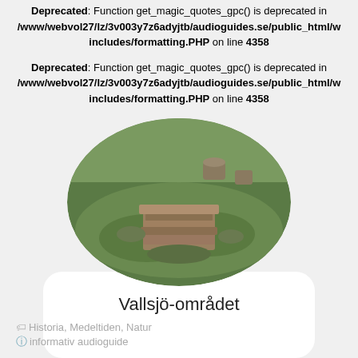Deprecated: Function get_magic_quotes_gpc() is deprecated in /www/webvol27/lz/3v003y7z6adyjtb/audioguides.se/public_html/w includes/formatting.PHP on line 4358
Deprecated: Function get_magic_quotes_gpc() is deprecated in /www/webvol27/lz/3v003y7z6adyjtb/audioguides.se/public_html/w includes/formatting.PHP on line 4358
[Figure (photo): Oval-cropped photo showing stone ruins or foundation blocks on a grassy hillside area]
Vallsjö-området
Historia, Medeltiden, Natur
informativ audioguide